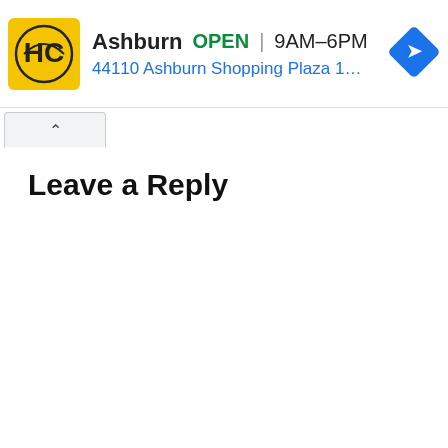[Figure (screenshot): Advertisement banner for HC (Haverty's or similar) store in Ashburn showing logo, OPEN status, hours 9AM-6PM, address 44110 Ashburn Shopping Plaza 190 A..., and a blue navigation arrow icon. Below the ad is a browser tab bar with an up-chevron tab. Below that is a web page content area with a 'Leave a Reply' section header.]
Leave a Reply